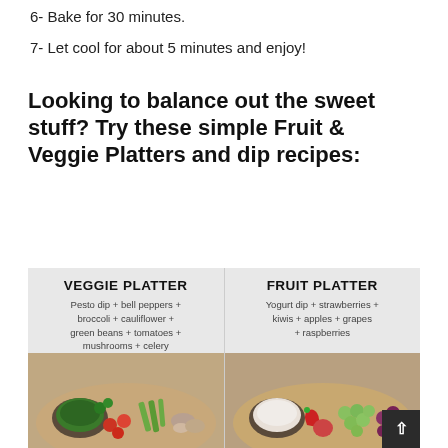6- Bake for 30 minutes.
7- Let cool for about 5 minutes and enjoy!
Looking to balance out the sweet stuff? Try these simple Fruit & Veggie Platters and dip recipes:
[Figure (infographic): Two-panel infographic showing Veggie Platter (Pesto dip + bell peppers + broccoli + cauliflower + green beans + tomatoes + mushrooms + celery) and Fruit Platter (Yogurt dip + strawberries + kiwis + apples + grapes + raspberries), each with a photo of the platter below the text.]